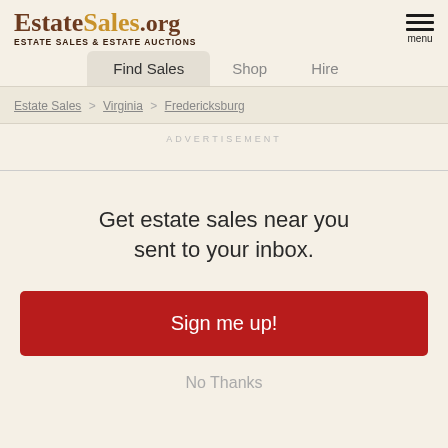EstateSales.org — Estate Sales & Estate Auctions
Find Sales | Shop | Hire
Estate Sales > Virginia > Fredericksburg
ADVERTISEMENT
Get estate sales near you sent to your inbox.
Sign me up!
No Thanks